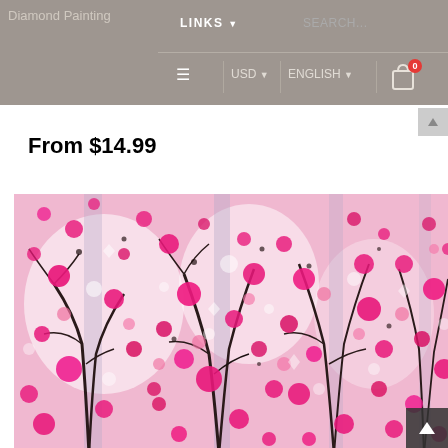Diamond Painting | LINKS | SEARCH... | USD | ENGLISH | Cart 0
From $14.99
[Figure (photo): Cherry blossom watercolor painting showing pink flowers and dark branches on a light pink/white background, displayed as a diamond painting product image]